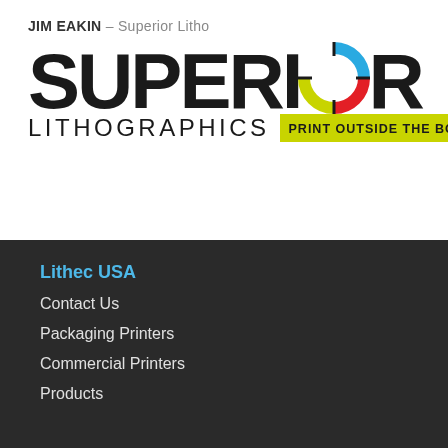JIM EAKIN – Superior Litho
[Figure (logo): Superior Lithographics logo with colorful crosshair/target icon and yellow-green tagline box reading PRINT OUTSIDE THE BOX]
Lithec USA
Contact Us
Packaging Printers
Commercial Printers
Products